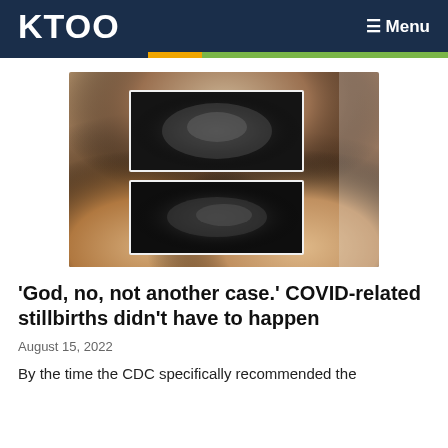KTOO   ≡ Menu
[Figure (photo): Hands holding two ultrasound photos of a fetus]
'God, no, not another case.' COVID-related stillbirths didn't have to happen
August 15, 2022
By the time the CDC specifically recommended the